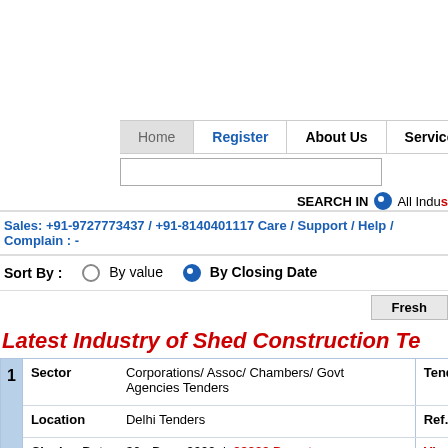Home | Register | About Us | Services
SEARCH IN (radio) All Industries
Sales: +91-9727773437 / +91-8140401117 Care / Support / Help / Complain : -
Sort By : (radio) By value  (radio selected) By Closing Date
Fresh
Latest Industry of Shed Construction Te
| # | Sector / Location / Closing Date / Description | Tender Value / Ref.No / View / Tender |
| --- | --- | --- |
| 1 | Sector: Corporations/ Assoc/ Chambers/ Govt Agencies Tenders
Location: Delhi Tenders
Closing Date: 30 - Dec - 2099 | 28239 Days to go
Handling and operation of goods sheds on indian railway network | Tender Value
Ref.No
View
Tender |